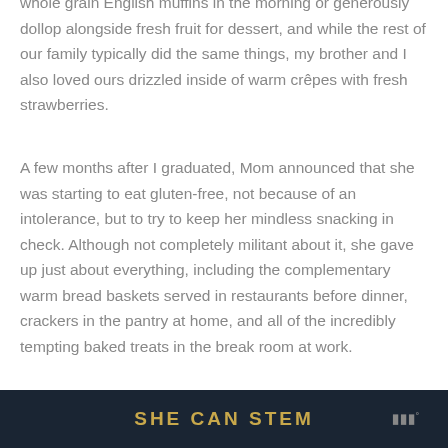whole grain English muffins in the morning or generously dollop alongside fresh fruit for dessert, and while the rest of our family typically did the same things, my brother and I also loved ours drizzled inside of warm crêpes with fresh strawberries.
A few months after I graduated, Mom announced that she was starting to eat gluten-free, not because of an intolerance, but to try to keep her mindless snacking in check. Although not completely militant about it, she gave up just about everything, including the complementary warm bread baskets served in restaurants before dinner, crackers in the pantry at home, and all of the incredibly tempting baked treats in the break room at work.
SHE CAN STEM